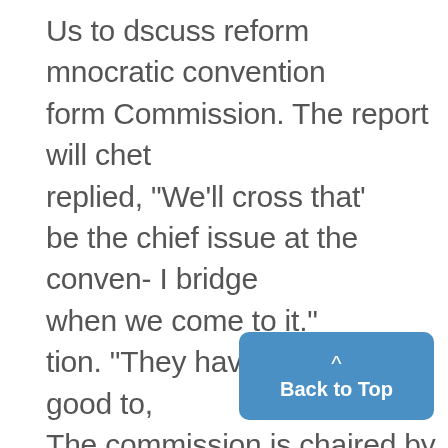Us to dscuss reform mnocratic convention form Commission. The report will chet replied, "We'll cross that' be the chief issue at the conven- I bridge when we come to it." tion. "They have been pretty good to, The commission is chaired by us so far," says De Grieck. "They' William Haver, special advisor to have been very co-operative about the executive officers of the Un floor space atthe con- versity. Its recommendations in- vention